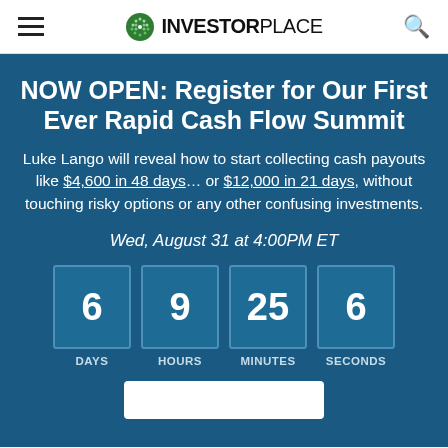INVESTORPLACE
NOW OPEN: Register for Our First Ever Rapid Cash Flow Summit
Luke Lango will reveal how to start collecting cash payouts like $4,600 in 48 days… or $12,000 in 21 days, without touching risky options or any other confusing investments.
Wed, August 31 at 4:00PM ET
[Figure (infographic): Countdown timer showing 6 DAYS, 9 HOURS, 25 MINUTES, 6 SECONDS]